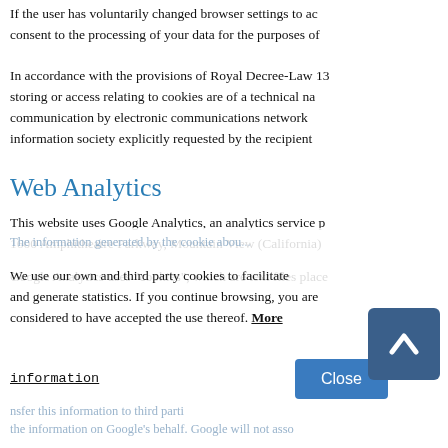If the user has voluntarily changed browser settings to ac consent to the processing of your data for the purposes of
In accordance with the provisions of Royal Decree-Law 13 storing or access relating to cookies are of a technical na communication by electronic communications network information society explicitly requested by the recipient
Web Analytics
This website uses Google Analytics, an analytics service p 1600 Amphitheatre Parkway, Mountain View (California)
Google Analytics uses "cookies", which are text files place
We use our own and third party cookies to facilitate and generate statistics. If you continue browsing, you are considered to have accepted the use thereof. More information
Close
The information generated by the cookie abou
nsfer this information to third parti the information on Google's behalf. Google will not asso